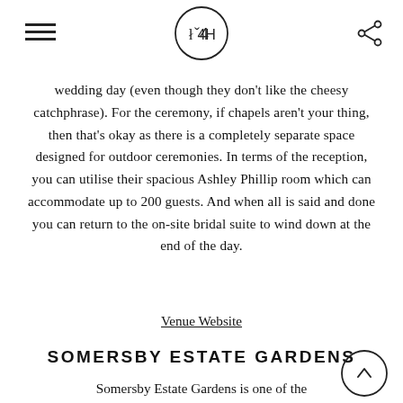LH logo with hamburger menu and share icon
wedding day (even though they don't like the cheesy catchphrase). For the ceremony, if chapels aren't your thing, then that's okay as there is a completely separate space designed for outdoor ceremonies. In terms of the reception, you can utilise their spacious Ashley Phillip room which can accommodate up to 200 guests. And when all is said and done you can return to the on-site bridal suite to wind down at the end of the day.
Venue Website
SOMERSBY ESTATE GARDENS
Somersby Estate Gardens is one of the